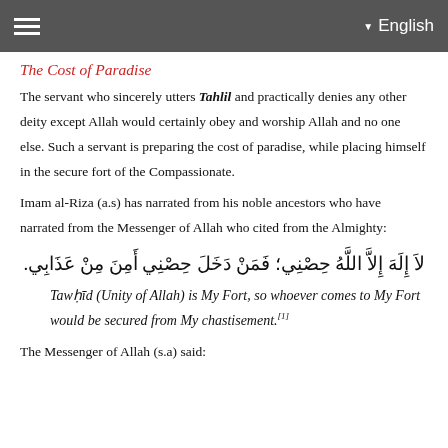English
The Cost of Paradise
The servant who sincerely utters Tahlil and practically denies any other deity except Allah would certainly obey and worship Allah and no one else. Such a servant is preparing the cost of paradise, while placing himself in the secure fort of the Compassionate.
Imam al-Riza (a.s) has narrated from his noble ancestors who have narrated from the Messenger of Allah who cited from the Almighty:
لاَ إِلَهَ إِلاَّ اللَّهُ حِصْنِي؛ فَمَنْ دَخَلَ حِصْنِي أَمِنَ مِنْ عَذَابِي.
Tawḥīd (Unity of Allah) is My Fort, so whoever comes to My Fort would be secured from My chastisement.[1]
The Messenger of Allah (s.a) said: